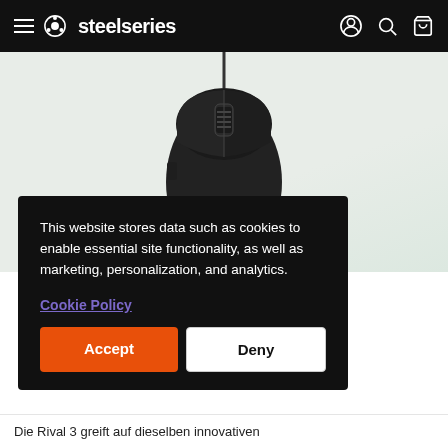steelseries — navigation bar with hamburger menu, logo, account, search, and cart icons
[Figure (photo): Black SteelSeries Rival 3 gaming mouse with cable, top-down view against light background with subtle green RGB glow]
This website stores data such as cookies to enable essential site functionality, as well as marketing, personalization, and analytics.
Cookie Policy
Accept
Deny
Die Rival 3 greift auf dieselben innovativen